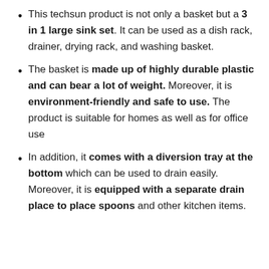This techsun product is not only a basket but a 3 in 1 large sink set. It can be used as a dish rack, drainer, drying rack, and washing basket.
The basket is made up of highly durable plastic and can bear a lot of weight. Moreover, it is environment-friendly and safe to use. The product is suitable for homes as well as for office use
In addition, it comes with a diversion tray at the bottom which can be used to drain easily. Moreover, it is equipped with a separate drain place to place spoons and other kitchen items.